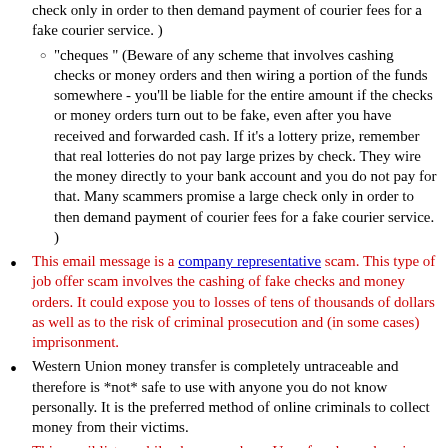check only in order to then demand payment of courier fees for a fake courier service. )
"cheques " (Beware of any scheme that involves cashing checks or money orders and then wiring a portion of the funds somewhere - you'll be liable for the entire amount if the checks or money orders turn out to be fake, even after you have received and forwarded cash. If it's a lottery prize, remember that real lotteries do not pay large prizes by check. They wire the money directly to your bank account and you do not pay for that. Many scammers promise a large check only in order to then demand payment of courier fees for a fake courier service. )
This email message is a company representative scam. This type of job offer scam involves the cashing of fake checks and money orders. It could expose you to losses of tens of thousands of dollars as well as to the risk of criminal prosecution and (in some cases) imprisonment.
Western Union money transfer is completely untraceable and therefore is *not* safe to use with anyone you do not know personally. It is the preferred method of online criminals to collect money from their victims.
This email lists mobile phone numbers. Use of such numbers is typical for scams because they allow criminals to conceal their true location. They can receive calls in an Internet cafe